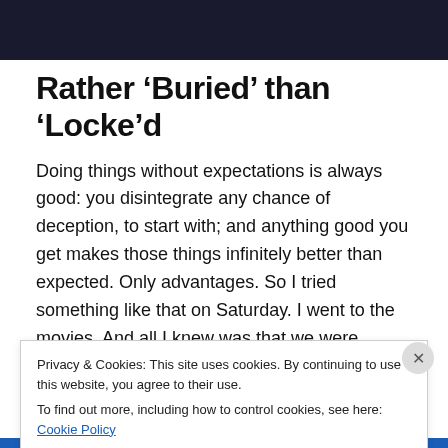[Figure (photo): Dark/moody top image, partial view of person in dim light]
Rather ‘Buried’ than ‘Locke’d
Doing things without expectations is always good: you disintegrate any chance of deception, to start with; and anything good you get makes those things infinitely better than expected. Only advantages. So I tried something like that on Saturday. I went to the movies. And all I knew was that we were seeing a thriller called Locke.
Cool. The film starts and the intensity is high since the first
Privacy & Cookies: This site uses cookies. By continuing to use this website, you agree to their use.
To find out more, including how to control cookies, see here: Cookie Policy
Close and accept